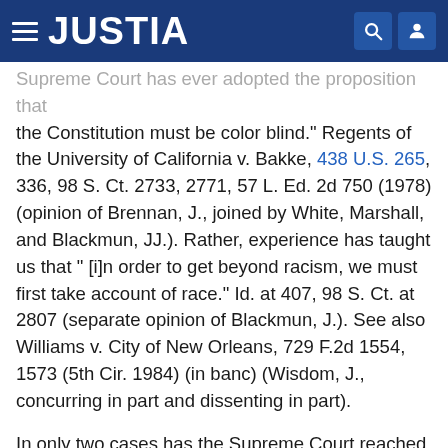JUSTIA
Supreme Court has ever adopted the proposition that the Constitution must be color blind." Regents of the University of California v. Bakke, 438 U.S. 265, 336, 98 S. Ct. 2733, 2771, 57 L. Ed. 2d 750 (1978) (opinion of Brennan, J., joined by White, Marshall, and Blackmun, JJ.). Rather, experience has taught us that " [i]n order to get beyond racism, we must first take account of race." Id. at 407, 98 S. Ct. at 2807 (separate opinion of Blackmun, J.). See also Williams v. City of New Orleans, 729 F.2d 1554, 1573 (5th Cir. 1984) (in banc) (Wisdom, J., concurring in part and dissenting in part).
In only two cases has the Supreme Court reached the merits of a party's contention that a governmental remedial program considering race as a factor violates the Equal Protection Clause of the Fourteenth Amendment.a8  In the first, Regents of the University of California v. Bakke, supra, decided in 1978, the Court's